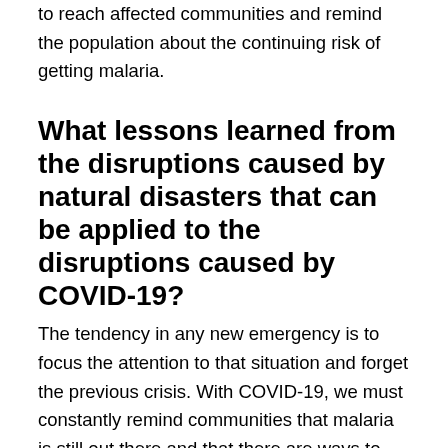to reach affected communities and remind the population about the continuing risk of getting malaria.
What lessons learned from the disruptions caused by natural disasters that can be applied to the disruptions caused by COVID-19?
The tendency in any new emergency is to focus the attention to that situation and forget the previous crisis. With COVID-19, we must constantly remind communities that malaria is still out there and that there are ways to get diagnosed and